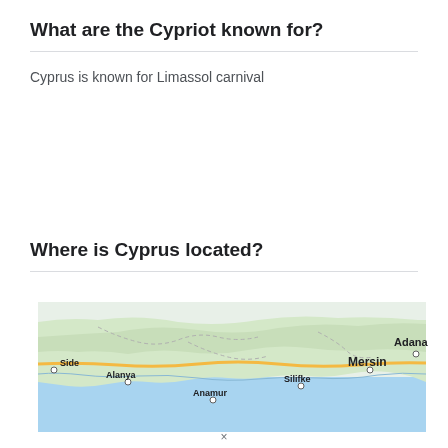What are the Cypriot known for?
Cyprus is known for Limassol carnival
Where is Cyprus located?
[Figure (map): Google Maps showing the southern coast of Turkey with cities labeled: Side, Alanya, Anamur, Silifke, Mersin, Adana. The map shows green terrain (land) in the north and blue sea (Mediterranean) to the south. Yellow roads are visible.]